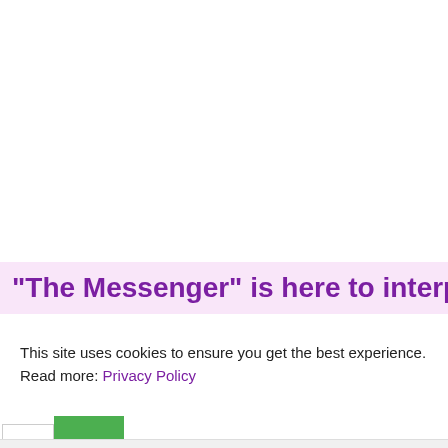"The Messenger" is here to interpret your
This site uses cookies to ensure you get the best experience.
Read more: Privacy Policy